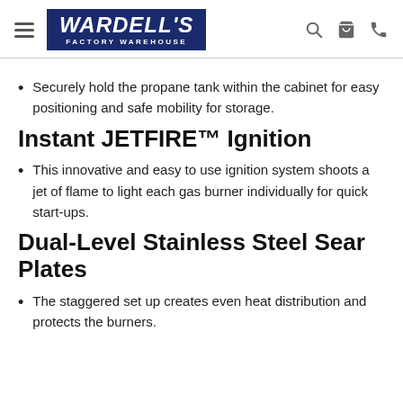Wardell's Factory Warehouse
Securely hold the propane tank within the cabinet for easy positioning and safe mobility for storage.
Instant JETFIRE™ Ignition
This innovative and easy to use ignition system shoots a jet of flame to light each gas burner individually for quick start-ups.
Dual-Level Stainless Steel Sear Plates
The staggered set up creates even heat distribution and protects the burners.